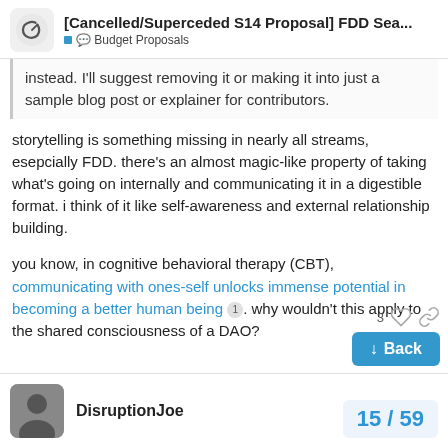[Cancelled/Superceded S14 Proposal] FDD Sea... 💬 Budget Proposals
instead. I'll suggest removing it or making it into just a sample blog post or explainer for contributors.
storytelling is something missing in nearly all streams, esepcially FDD. there's an almost magic-like property of taking what's going on internally and communicating it in a digestible format. i think of it like self-awareness and external relationship building.
you know, in cognitive behavioral therapy (CBT), communicating with ones-self unlocks immense potential in becoming a better human being 1. why wouldn't this apply to the shared consciousness of a DAO?
DisruptionJoe
15 / 59